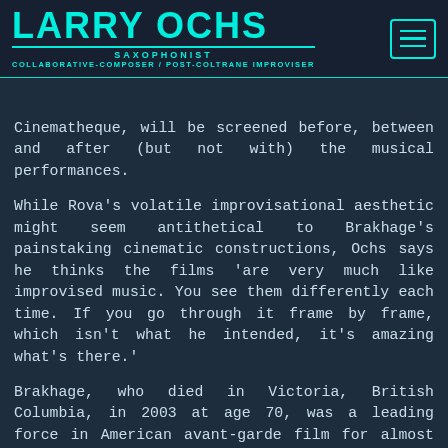LARRY OCHS — SAXOPHONIST — COLLABORATIVE-COMPOSER / POST-COLTRANE IMPROVISER
Cinematheque, will be screened before, between and after (but not with) the musical performances.
While Rova's volatile improvisational aesthetic might seem antithetical to Brakhage's painstaking cinematic constructions, Ochs says he thinks the films 'are very much like improvised music. You see them differently each time. If you go through it frame by frame, which isn't what he intended, it's amazing what's there.'
Brakhage, who died in Victoria, British Columbia, in 2003 at age 70, was a leading force in American avant-garde film for almost half a century. Never able to support himself with his art, he taught at the Art Institute of Chicago for years, commuting every other week from his home in Colorado. He eventually landed a job at the University of Colorado at Boulder, where he taught from 1981 to 2002. Though he initially adopted a neorealist style, Brakhage started departing from narrative in 1955.